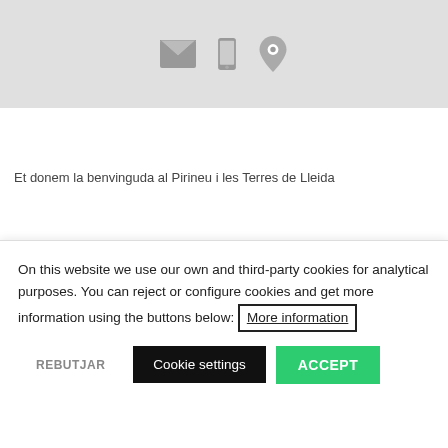[Figure (screenshot): Top gray header bar with three icons: envelope/mail, mobile phone, and location pin]
Et donem la benvinguda al Pirineu i les Terres de Lleida
[Figure (logo): Mountain logo with blue sky and green peak, water/tourism logo, and Certified text]
On this website we use our own and third-party cookies for analytical purposes. You can reject or configure cookies and get more information using the buttons below: More information
REBUTJAR | Cookie settings | ACCEPT